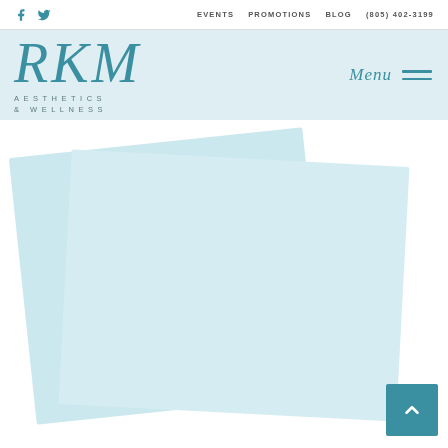f  [twitter]  EVENTS  PROMOTIONS  BLOG  (805) 402-3199
RKM AESTHETICS & WELLNESS
Menu
[Figure (screenshot): Two overlapping light blue rectangles on a white background, suggesting a promotional card or image placeholder. A teal back-to-top arrow button appears in the bottom right corner.]